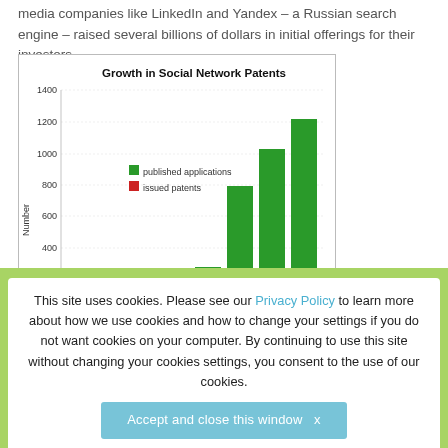media companies like LinkedIn and Yandex – a Russian search engine – raised several billions of dollars in initial offerings for their investors.
[Figure (bar-chart): Growth in Social Network Patents]
This site uses cookies. Please see our Privacy Policy to learn more about how we use cookies and how to change your settings if you do not want cookies on your computer. By continuing to use this site without changing your cookies settings, you consent to the use of our cookies.